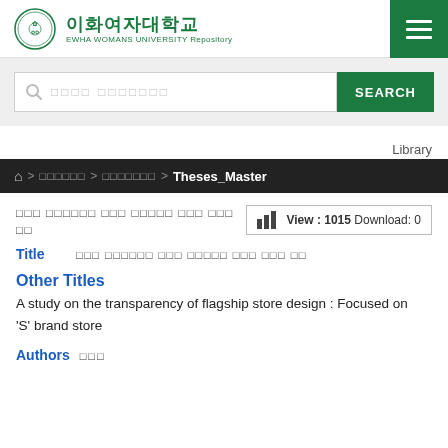[Figure (logo): Ewha Womans University logo with Korean text 이화여자대학교 and subtitle EWHA WOMANS UNIVERSITY Repository]
Search bar with placeholder text and SEARCH button
Library
🏠 > 이화여자대학교 > 이화여자대학교 > Theses_Master
플래그십 스토어의 투명성이 소비자 브랜드 태도에 미치는 영향
View : 1015 Download: 0
Title  플래그십 스토어의 투명성이 소비자 브랜드 태도에 미치는 영향
Other Titles
A study on the transparency of flagship store design : Focused on 'S' brand store
Authors  장예린